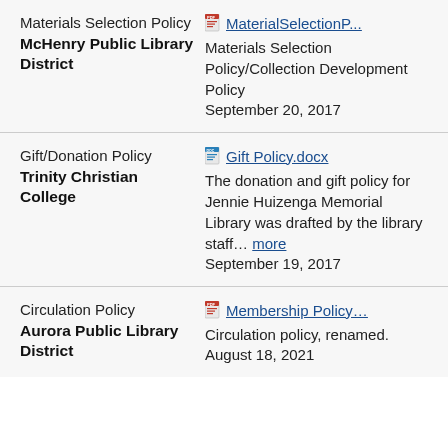Materials Selection Policy
McHenry Public Library District
MaterialSelectionP...
Materials Selection Policy/Collection Development Policy
September 20, 2017
Gift/Donation Policy
Trinity Christian College
Gift Policy.docx
The donation and gift policy for Jennie Huizenga Memorial Library was drafted by the library staff... more
September 19, 2017
Circulation Policy
Aurora Public Library District
Membership Policy...
Circulation policy, renamed.
August 18, 2021